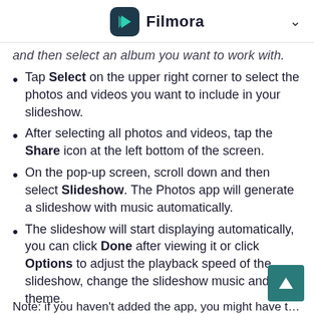Filmora
and then select an album you want to work with.
Tap Select on the upper right corner to select the photos and videos you want to include in your slideshow.
After selecting all photos and videos, tap the Share icon at the left bottom of the screen.
On the pop-up screen, scroll down and then select Slideshow. The Photos app will generate a slideshow with music automatically.
The slideshow will start displaying automatically, you can click Done after viewing it or click Options to adjust the playback speed of the slideshow, change the slideshow music and theme.
Note: if you haven't added the app, you might have to download and...